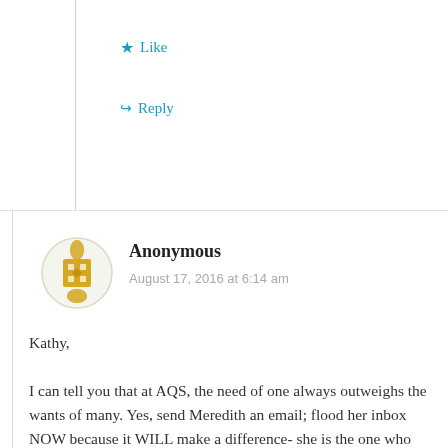★ Like
↪ Reply
Anonymous
August 17, 2016 at 6:14 am
Kathy,

I can tell you that at AQS, the need of one always outweighs the wants of many. Yes, send Meredith an email; flood her inbox NOW because it WILL make a difference- she is the one who makes these calls. It's either Meredith@aqsquilt.com or meredithschroeder@aqsquilt.com (I can't remember which one) DO IT!